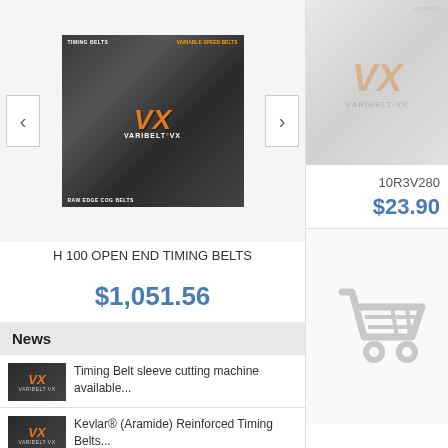[Figure (photo): Product image of VARIBELT VX variable speed belts / raw edge cog belts with navigation arrows]
H 100 OPEN END TIMING BELTS
$1,051.56
[Figure (photo): Faded right-side product image showing VARIBELT VX branding]
10R3V280
$23.90
News
Timing Belt sleeve cutting machine available...
Kevlar® (Aramide) Reinforced Timing Belts...
Full Factory timing belt sleeves are available...
Belt Production Machines
[Figure (photo): Shopping cart icon (gray, faded)]